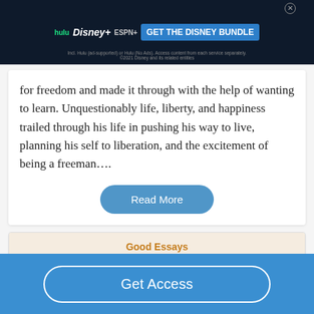[Figure (screenshot): Disney Bundle advertisement banner with Hulu, Disney+, ESPN+ logos and 'GET THE DISNEY BUNDLE' button on dark background]
for freedom and made it through with the help of wanting to learn. Unquestionably life, liberty, and happiness trailed through his life in pushing his way to live, planning his self to liberation, and the excitement of being a freeman....
Read More
Good Essays
Guilt In The Kite Runner
Get Access